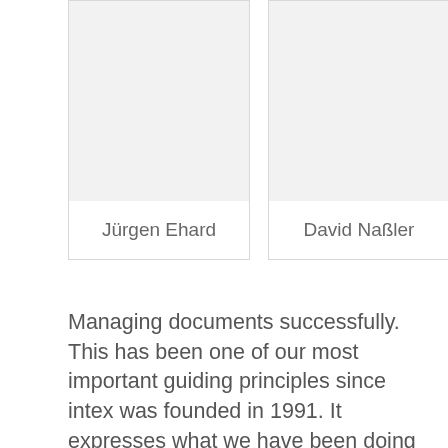[Figure (photo): Portrait photo placeholder for Jürgen Ehard]
[Figure (photo): Portrait photo placeholder for David Naßler]
Jürgen Ehard
David Naßler
Managing documents successfully. This has been one of our most important guiding principles since intex was founded in 1991. It expresses what we have been doing successfully for 25 years. This, coupled with exceptional service and solutions for our